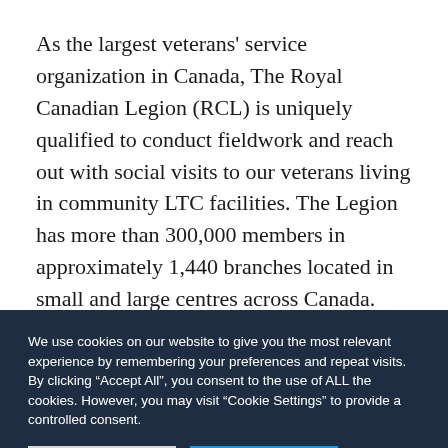As the largest veterans' service organization in Canada, The Royal Canadian Legion (RCL) is uniquely qualified to conduct fieldwork and reach out with social visits to our veterans living in community LTC facilities. The Legion has more than 300,000 members in approximately 1,440 branches located in small and large centres across Canada. The Outreach and Visitation Initiative draws on this resource to conduct visits to
We use cookies on our website to give you the most relevant experience by remembering your preferences and repeat visits. By clicking "Accept All", you consent to the use of ALL the cookies. However, you may visit "Cookie Settings" to provide a controlled consent.